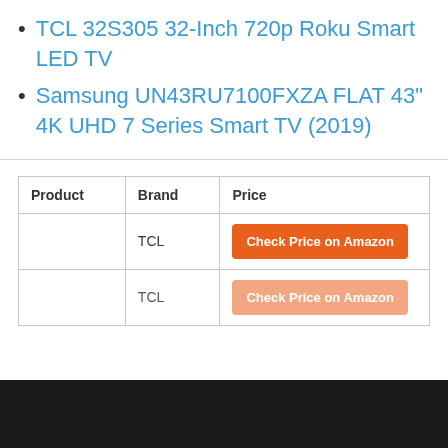TCL 32S305 32-Inch 720p Roku Smart LED TV
Samsung UN43RU7100FXZA FLAT 43" 4K UHD 7 Series Smart TV (2019)
| Product | Brand | Price |
| --- | --- | --- |
|  | TCL | Check Price on Amazon |
|  | TCL | Check Price on Amazon |